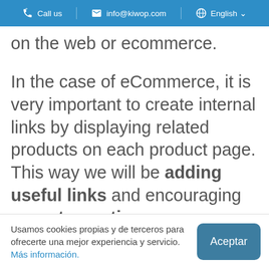Call us   info@kiwop.com   English
on the web or ecommerce.
In the case of eCommerce, it is very important to create internal links by displaying related products on each product page. This way we will be adding useful links and encouraging users to continue
Usamos cookies propias y de terceros para ofrecerte una mejor experiencia y servicio. Más información.